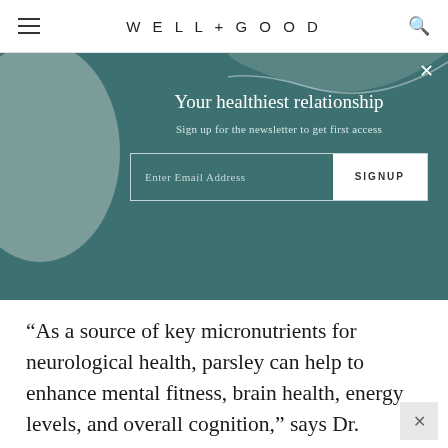WELL+GOOD
[Figure (screenshot): Newsletter signup modal banner with teal background. Title: 'Your healthiest relationship'. Subtitle: 'Sign up for the newsletter to get first access'. Email input field with SIGNUP button.]
“As a source of key micronutrients for neurological health, parsley can help to enhance mental fitness, brain health, energy levels, and overall cognition,” says Dr. Naidoo. In short, you’ll be doing your brain